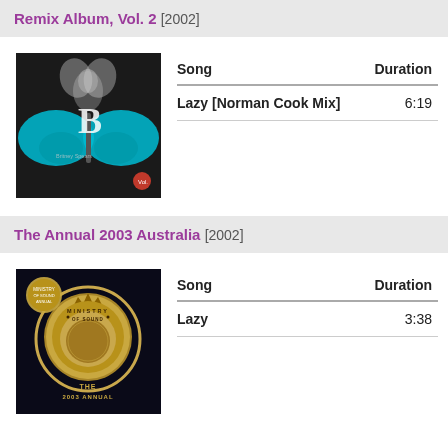Remix Album, Vol. 2 [2002]
[Figure (photo): Album art for Britney Spears Remix Album Vol. 2, showing a woman with a large butterfly, dark background]
| Song | Duration |
| --- | --- |
| Lazy [Norman Cook Mix] | 6:19 |
The Annual 2003 Australia [2002]
[Figure (photo): Album art for Ministry of Sound The Annual 2003 Australia, dark cover with gold emblem]
| Song | Duration |
| --- | --- |
| Lazy | 3:38 |